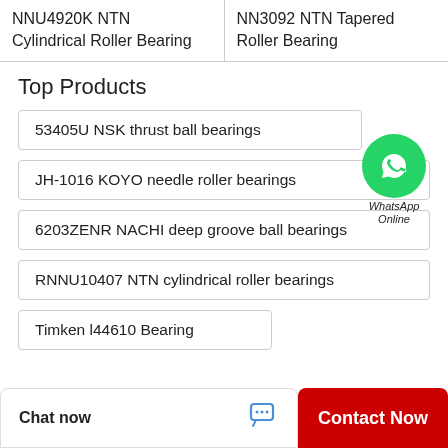NNU4920K NTN Cylindrical Roller Bearing
NN3092 NTN Tapered Roller Bearing
Top Products
53405U NSK thrust ball bearings
JH-1016 KOYO needle roller bearings
6203ZENR NACHI deep groove ball bearings
RNNU10407 NTN cylindrical roller bearings
Timken l44610 Bearing
[Figure (logo): WhatsApp Online green circle icon with phone handset symbol and text 'WhatsApp Online']
Chat now
Contact Now